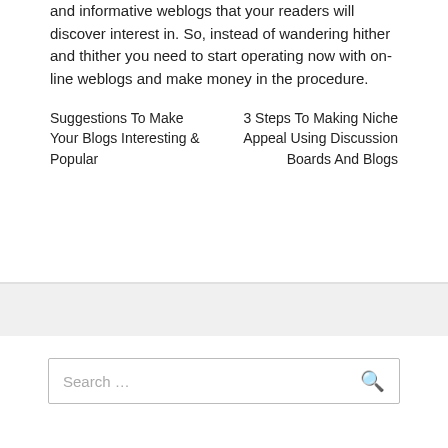and informative weblogs that your readers will discover interest in. So, instead of wandering hither and thither you need to start operating now with on-line weblogs and make money in the procedure.
Suggestions To Make Your Blogs Interesting & Popular
3 Steps To Making Niche Appeal Using Discussion Boards And Blogs